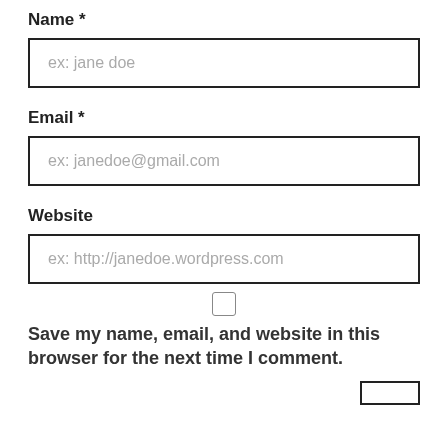Name *
ex: jane doe
Email *
ex: janedoe@gmail.com
Website
ex: http://janedoe.wordpress.com
Save my name, email, and website in this browser for the next time I comment.